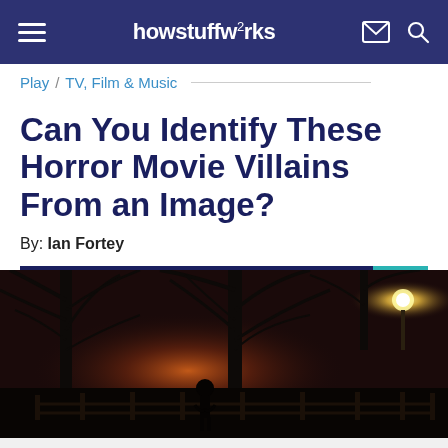howstuffworks
Play / TV, Film & Music
Can You Identify These Horror Movie Villains From an Image?
By: Ian Fortey
[Figure (photo): Nighttime atmospheric photo showing silhouette of a person standing at a fence with bare trees and a glowing orange/yellow light source in the background]